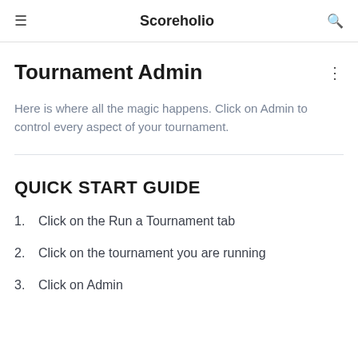Scoreholio
Tournament Admin
Here is where all the magic happens. Click on Admin to control every aspect of your tournament.
QUICK START GUIDE
1.  Click on the Run a Tournament tab
2.  Click on the tournament you are running
3.  Click on Admin